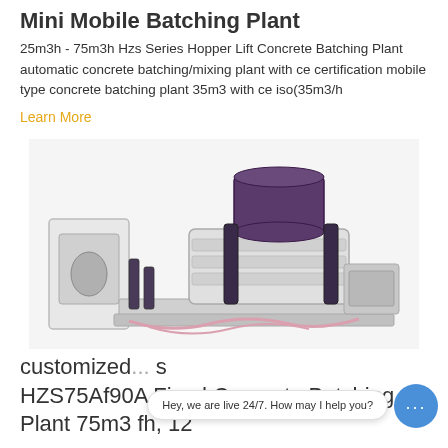Mini Mobile Batching Plant
25m3h - 75m3h Hzs Series Hopper Lift Concrete Batching Plant automatic concrete batching/mixing plant with ce certification mobile type concrete batching plant 35m3 with ce iso(35m3/h
Learn More
[Figure (photo): Mini mobile concrete batching plant machinery with control panel on the left and mixing unit components on a platform]
customized ... s
HZS75Af90A Fixed Concrete Batching Plant 75m3 fh, 12